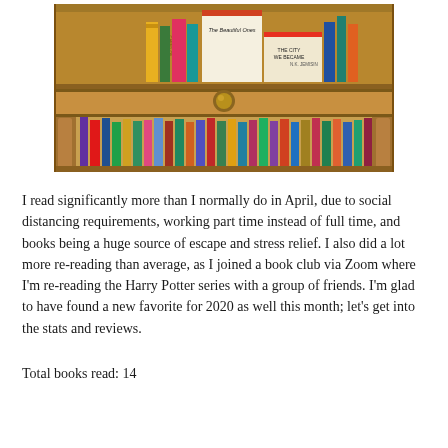[Figure (photo): A wooden bookshelf with colorful books on the top shelf and bottom shelf, including visible titles such as 'The City We Became' by N.K. Jemisin and 'The Beautiful Ones'. The shelf has an ornate drawer with a round brass knob in the middle.]
I read significantly more than I normally do in April, due to social distancing requirements, working part time instead of full time, and books being a huge source of escape and stress relief. I also did a lot more re-reading than average, as I joined a book club via Zoom where I'm re-reading the Harry Potter series with a group of friends. I'm glad to have found a new favorite for 2020 as well this month; let's get into the stats and reviews.
Total books read: 14